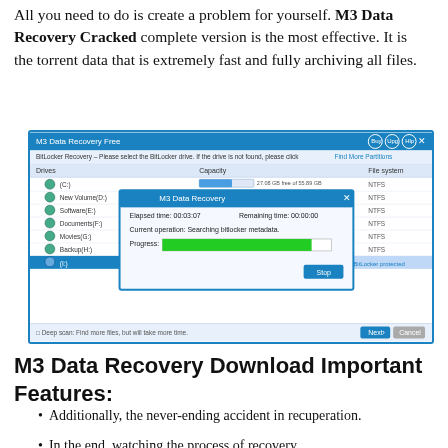All you need to do is create a problem for yourself. M3 Data Recovery Cracked complete version is the most effective. It is the torrent data that is extremely fast and fully archiving all files.
[Figure (screenshot): Screenshot of M3 Data Recovery Free application showing a BitLocker Recovery drive selection window with drives listed (C:, New Volume D:, Software E:, Documents F:, Movies G:, Backup H:, I:) and an overlay progress dialog showing Elapsed Time: 00:03:07, Remaining time: 00:00:00, Current operation: Searching bitlocker metadata, with a green progress bar and Stop button.]
M3 Data Recovery Download Important Features:
Additionally, the never-ending accident in recuperation.
In the end, watching the process of recovery